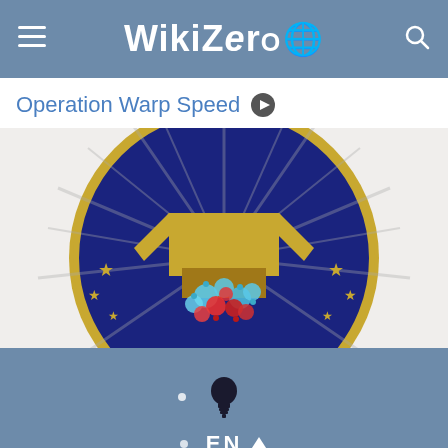WikiZero
Operation Warp Speed
[Figure (logo): Operation Warp Speed official seal — circular dark navy blue seal with gold text 'OPERATION' along the top arc, gold stars, radiating beams, a gold chevron/building shape, and colorful virus particles (red and blue) in the center foreground.]
[Figure (other): WikiZero app bottom navigation bar with a lightbulb icon and EN language selector with upward arrow.]